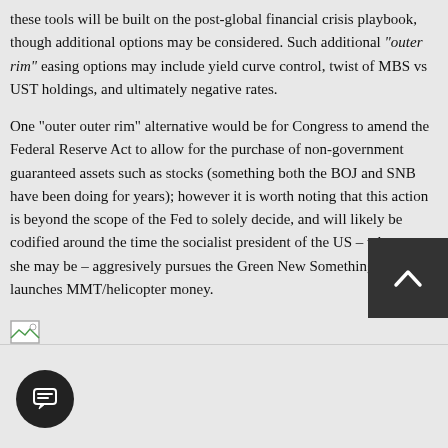these tools will be built on the post-global financial crisis playbook, though additional options may be considered. Such additional "outer rim" easing options may include yield curve control, twist of MBS vs UST holdings, and ultimately negative rates.
One "outer outer rim" alternative would be for Congress to amend the Federal Reserve Act to allow for the purchase of non-government guaranteed assets such as stocks (something both the BOJ and SNB have been doing for years); however it is worth noting that this action is beyond the scope of the Fed to solely decide, and will likely be codified around the time the socialist president of the US – whoever she may be – aggresively pursues the Green New Something and launches MMT/helicopter money.
[Figure (other): Small broken image icon placeholder at bottom left]